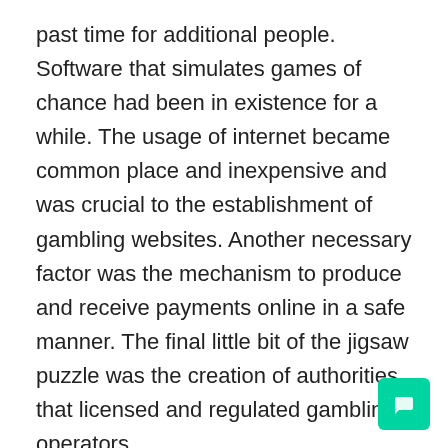past time for additional people. Software that simulates games of chance had been in existence for a while. The usage of internet became common place and inexpensive and was crucial to the establishment of gambling websites. Another necessary factor was the mechanism to produce and receive payments online in a safe manner. The final little bit of the jigsaw puzzle was the creation of authorities that licensed and regulated gambling operators.
Once gambling websites were established around 1995 they started initially to proliferate quickly. The period 2000 to 2006 was a boom time for the internet gambling industry. This is because online gambling offers many advantages over land based gambling. The